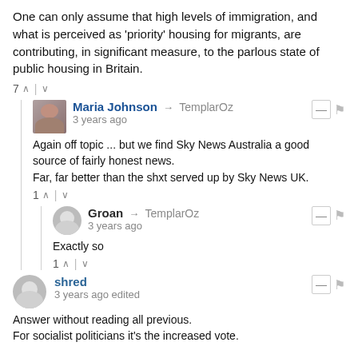One can only assume that high levels of immigration, and what is perceived as 'priority' housing for migrants, are contributing, in significant measure, to the parlous state of public housing in Britain.
7 ▲ | ▼
Maria Johnson → TemplarOz
3 years ago
Again off topic ... but we find Sky News Australia a good source of fairly honest news.
Far, far better than the shxt served up by Sky News UK.
1 ▲ | ▼
Groan → TemplarOz
3 years ago
Exactly so
1 ▲ | ▼
shred
3 years ago edited
Answer without reading all previous.
For socialist politicians it's the increased vote.